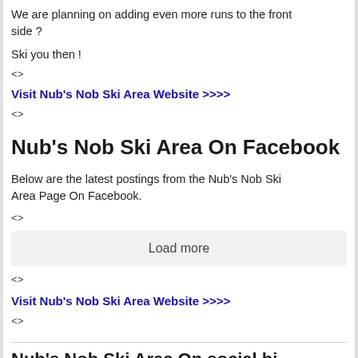We are planning on adding even more runs to the front side ?
Ski you then !
<>
Visit Nub's Nob Ski Area Website >>>>
<>
Nub's Nob Ski Area On Facebook
Below are the latest postings from the Nub's Nob Ski Area Page On Facebook.
<>
Load more
<>
Visit Nub's Nob Ski Area Website >>>>
<>
Nub's Nob Ski Area On social bi...